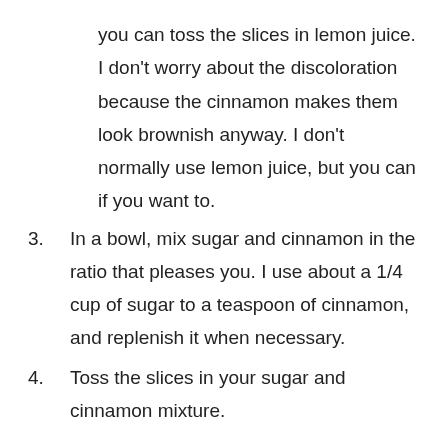you can toss the slices in lemon juice. I don't worry about the discoloration because the cinnamon makes them look brownish anyway. I don't normally use lemon juice, but you can if you want to.
3. In a bowl, mix sugar and cinnamon in the ratio that pleases you. I use about a 1/4 cup of sugar to a teaspoon of cinnamon, and replenish it when necessary.
4. Toss the slices in your sugar and cinnamon mixture.
There are two ways you can dry them from here on out. You can use a dehydrator or your oven. I use a